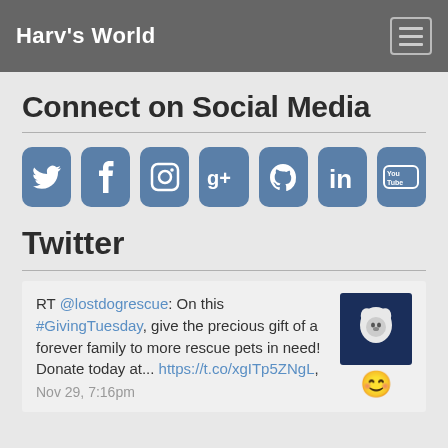Harv's World
Connect on Social Media
[Figure (infographic): Row of 7 social media icon buttons: Twitter, Facebook, Instagram, Google+, GitHub, LinkedIn, YouTube — each as a rounded square with steel-blue background and white icon]
Twitter
RT @lostdogrescue: On this #GivingTuesday, give the precious gift of a forever family to more rescue pets in need! Donate today at... https://t.co/xgITp5ZNgL, Nov 29, 7:16pm